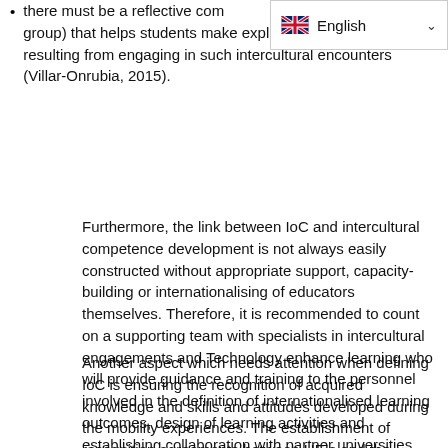there must be a reflective com... group) that helps students make explicit the learning resulting from engaging in such intercultural encounters (Villar-Onrubia, 2015).
Furthermore, the link between IoC and intercultural competence development is not always easily constructed without appropriate support, capacity-building or internationalising of educators themselves. Therefore, it is recommended to count on a supporting team with specialists in intercultural engagements and Technology enhance learning who will provide guidance and training to the personnel involved in the definition of internationalised learning outcomes, design of learning activities and establishing collaboration with partner universities.
Another aspect which needs attention when defining IoC is ensuring the recognition of acquired knowledge and skills and attitudes developed during the mobility experiences. The establishment of recognition agreements between HEIs and the implementation of awarding process for digital credentials are key to ensure when learners had completed their mobility